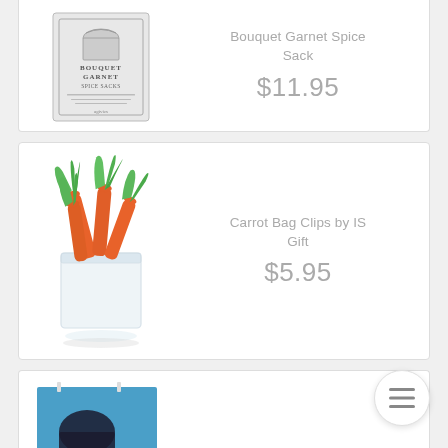[Figure (photo): Bouquet Garnet Spice Sack product — grey illustrated package label, partial view at top of page]
Bouquet Garnet Spice Sack
$11.95
[Figure (photo): Carrot Bag Clips by IS Gift — orange and green carrot-shaped clips in a glass container]
Carrot Bag Clips by IS Gift
$5.95
[Figure (photo): Third product, partially visible at bottom — blue background item with hanging clip or pin]